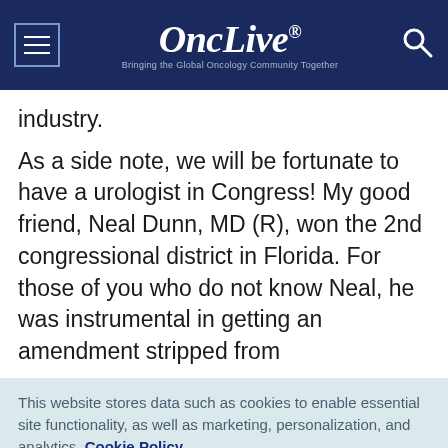OncLive® — Bringing the Global Oncology Community Together
industry.
As a side note, we will be fortunate to have a urologist in Congress! My good friend, Neal Dunn, MD (R), won the 2nd congressional district in Florida. For those of you who do not know Neal, he was instrumental in getting an amendment stripped from
This website stores data such as cookies to enable essential site functionality, as well as marketing, personalization, and analytics. Cookie Policy
Accept
Deny